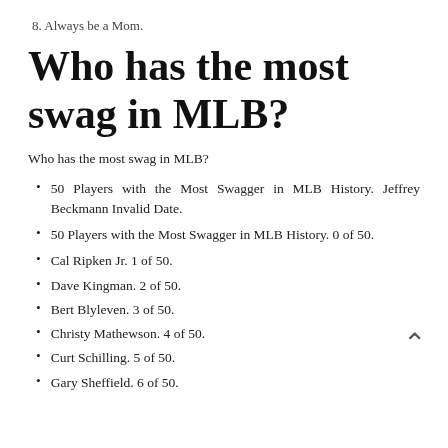8. Always be a Mom.
Who has the most swag in MLB?
Who has the most swag in MLB?
50 Players with the Most Swagger in MLB History. Jeffrey Beckmann Invalid Date.
50 Players with the Most Swagger in MLB History. 0 of 50.
Cal Ripken Jr. 1 of 50.
Dave Kingman. 2 of 50.
Bert Blyleven. 3 of 50.
Christy Mathewson. 4 of 50.
Curt Schilling. 5 of 50.
Gary Sheffield. 6 of 50.